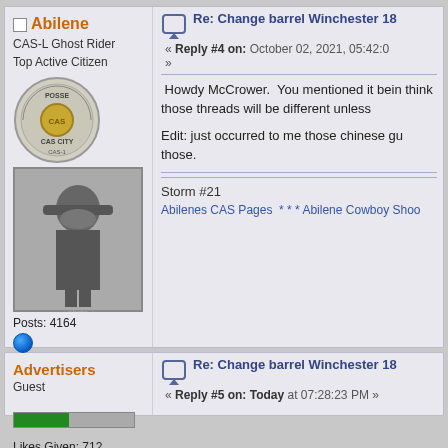Abilene
CAS-L Ghost Rider
Top Active Citizen
[Figure (photo): Posse CAS City badge logo]
[Figure (photo): Black and white photo of a cowboy character]
Posts: 4164
SASS #: 27489
NCOWS #: 3958
Liked:
Likes Given: 712
Re: Change barrel Winchester 18
« Reply #4 on: October 02, 2021, 05:42:0
»
Howdy McCrower.  You mentioned it bein think those threads will be different unless
Edit: just occurred to me those chinese gu those.
Storm #21
Abilenes CAS Pages   * * * Abilene Cowboy Shoo
Advertisers
Guest
Re: Change barrel Winchester 18
« Reply #5 on: Today at 07:28:23 PM »